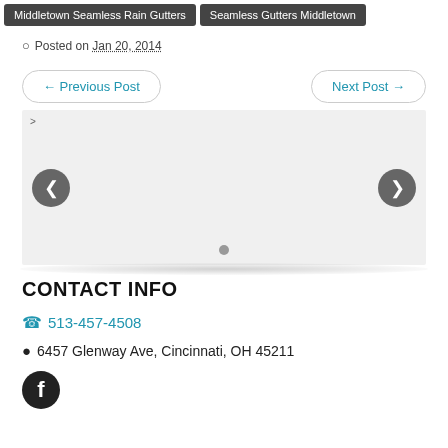Middletown Seamless Rain Gutters
Seamless Gutters Middletown
Posted on Jan 20, 2014
← Previous Post
Next Post →
[Figure (other): Image slideshow widget with left and right navigation arrows (chevron buttons) and a dot indicator at the bottom center. Background is light gray.]
CONTACT INFO
513-457-4508
6457 Glenway Ave, Cincinnati, OH 45211
[Figure (logo): Facebook logo icon — white 'f' on dark circular background]